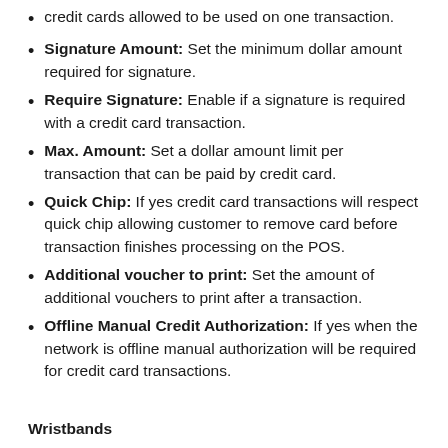credit cards allowed to be used on one transaction.
Signature Amount: Set the minimum dollar amount required for signature.
Require Signature: Enable if a signature is required with a credit card transaction.
Max. Amount: Set a dollar amount limit per transaction that can be paid by credit card.
Quick Chip: If yes credit card transactions will respect quick chip allowing customer to remove card before transaction finishes processing on the POS.
Additional voucher to print: Set the amount of additional vouchers to print after a transaction.
Offline Manual Credit Authorization: If yes when the network is offline manual authorization will be required for credit card transactions.
Wristbands